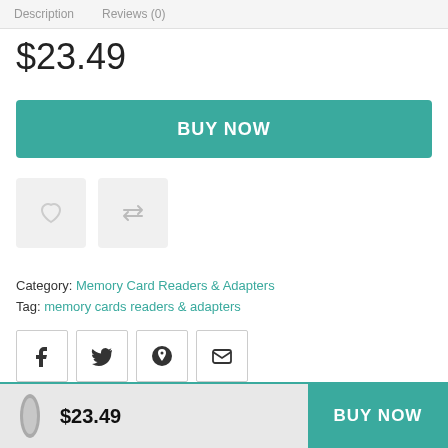Description   Reviews (0)
$23.49
BUY NOW
[Figure (other): Wishlist heart icon button and compare/shuffle icon button, two square icon buttons on light gray background]
Category: Memory Card Readers & Adapters
Tag: memory cards readers & adapters
[Figure (other): Four social share buttons: Facebook, Twitter, Pinterest, Email/envelope icons in square bordered buttons]
$23.49   BUY NOW